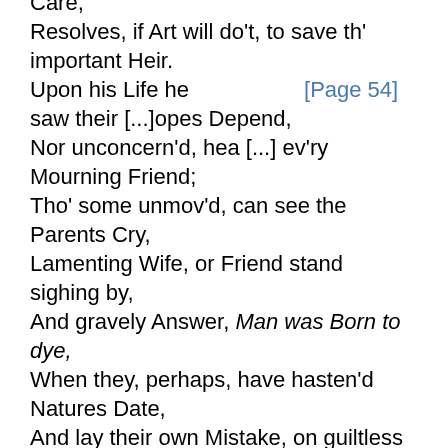Care,
Resolves, if Art will do't, to save th' important Heir.
Upon his Life he [Page 54] saw their [...]opes Depend,
Nor unconcern'd, hea [...] ev'ry Mourning Friend;
Tho' some unmov'd, can see the Parents Cry,
Lamenting Wife, or Friend stand sighing by,
And gravely Answer, Man was Born to dye,
When they, perhaps, have hasten'd Natures Date,
And lay their own Mistake, on guiltless Fate:
But this, with utmost care, consulted Health,
Like Generous Garth aim'd not alone at wealth;
The Mean, the Great, his equal influence find,
As sent by Heav'n, to heal and bless Mankind.
In him the Grace with the Arts...